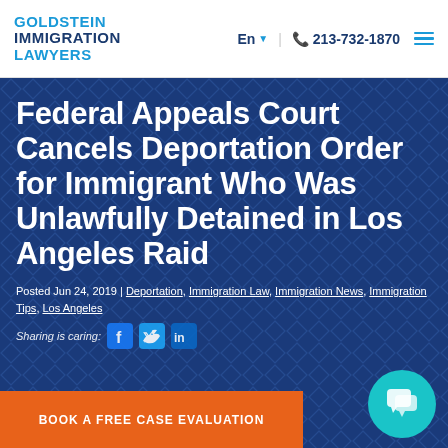GOLDSTEIN IMMIGRATION LAWYERS | En | 213-732-1870
Federal Appeals Court Cancels Deportation Order for Immigrant Who Was Unlawfully Detained in Los Angeles Raid
Posted Jun 24, 2019 | Deportation, Immigration Law, Immigration News, Immigration Tips, Los Angeles
Sharing is caring:
BOOK A FREE CASE EVALUATION